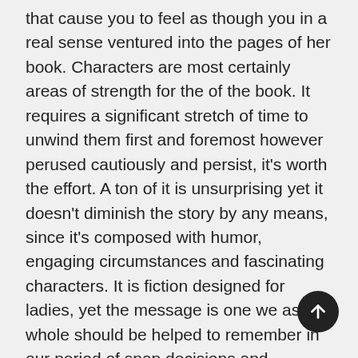that cause you to feel as though you in a real sense ventured into the pages of her book. Characters are most certainly areas of strength for the of the book. It requires a significant stretch of time to unwind them first and foremost however perused cautiously and persist, it's worth the effort. A ton of it is unsurprising yet it doesn't diminish the story by any means, since it's composed with humor, engaging circumstances and fascinating characters. It is fiction designed for ladies, yet the message is one we as a whole should be helped to remember in our period of snap decisions and prepared judgments don't pass judgment on somebody till you have strolled a mile from their point of view and keeping in mind that on occasion the story is engaging, in some cases it's a long mile. It ended being more intricate and intriguing. Similarly as with